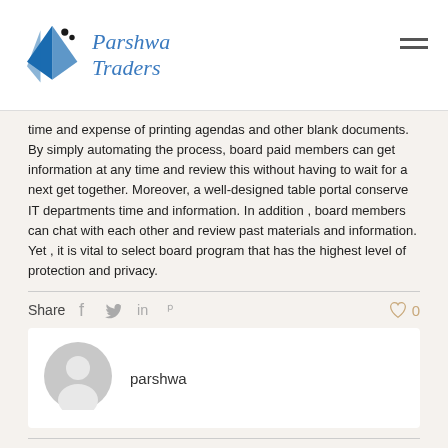Parshwa Traders
time and expense of printing agendas and other blank documents. By simply automating the process, board paid members can get information at any time and review this without having to wait for a next get together. Moreover, a well-designed table portal conserve IT departments time and information. In addition , board members can chat with each other and review past materials and information. Yet , it is vital to select board program that has the highest level of protection and privacy.
Share
[Figure (infographic): Author avatar placeholder — grey circle with user silhouette icon]
parshwa
Related posts